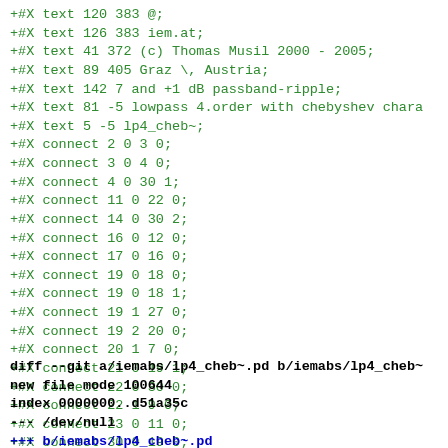+#X text 120 383 @;
+#X text 126 383 iem.at;
+#X text 41 372 (c) Thomas Musil 2000 - 2005;
+#X text 89 405 Graz \, Austria;
+#X text 142 7 and +1 dB passband-ripple;
+#X text 81 -5 lowpass 4.order with chebyshev chara
+#X text 5 -5 lp4_cheb~;
+#X connect 2 0 3 0;
+#X connect 3 0 4 0;
+#X connect 4 0 30 1;
+#X connect 11 0 22 0;
+#X connect 14 0 30 2;
+#X connect 16 0 12 0;
+#X connect 17 0 16 0;
+#X connect 19 0 18 0;
+#X connect 19 0 18 1;
+#X connect 19 1 27 0;
+#X connect 19 2 20 0;
+#X connect 20 1 7 0;
+#X connect 21 0 19 1;
+#X connect 22 0 30 0;
+#X connect 22 1 9 0;
+#X connect 23 0 11 0;
+#X connect 30 0 19 0;
diff --git a/iemabs/lp4_cheb~.pd b/iemabs/lp4_cheb~
new file mode 100644
index 0000000..d51a35c
--- /dev/null
+++ b/iemabs/lp4_cheb~.pd